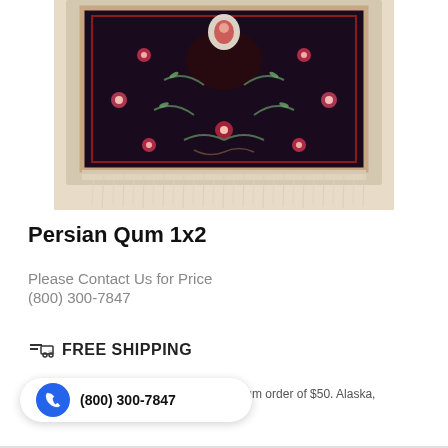[Figure (photo): Persian Qum rug with dark background, floral patterns in red, green, and pink, with cream/beige border and fringe at the bottom]
Persian Qum 1x2
Please Contact Us for Price
(800) 300-7847
FREE SHIPPING
(800) 300-7847
nly with the minimum order of $50. Alaska, rders excepted.